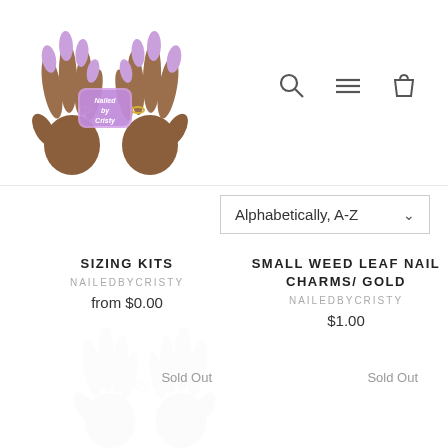[Figure (logo): NailedByCristy logo with two illustrated brown hands with long nails and a purple/pink logo badge in between]
[Figure (illustration): Navigation icons: search magnifying glass, hamburger menu, and shopping bag]
[Figure (infographic): Sort dropdown showing Alphabetically, A-Z]
SIZING KITS
NAILEDBYCRISTY
from $0.00
SMALL WEED LEAF NAIL CHARMS/ GOLD
NAILEDBYCRISTY
$1.00
Sold Out
Sold Out
[Figure (illustration): Faded watermark of NailedByCristy logo hands in light gray]